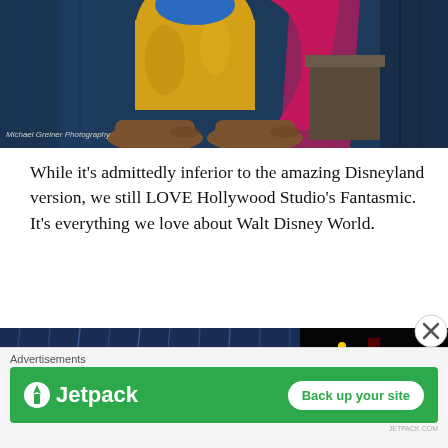[Figure (photo): Bottom half of a costumed character (Goofy-like) with large brown shoes, yellow baggy pants, and a pink/magenta cape or fabric, standing against a blue textured background.]
Michael Greiner Photography
While it's admittedly inferior to the amazing Disneyland version, we still LOVE Hollywood Studio's Fantasmic. It's everything we love about Walt Disney World.
[Figure (photo): A nighttime water show with sparkling pyrotechnics and mist screens lit in blue.]
[Figure (photo): A costumed villain character (Jafar) illuminated on stage in dark setting with red and green lighting.]
Advertisements
[Figure (logo): Jetpack advertisement banner with green background, Jetpack logo on left and 'Back up your site' white button on right.]